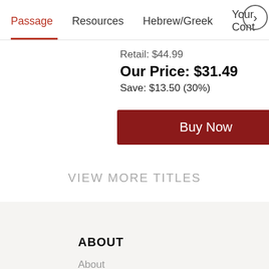Passage   Resources   Hebrew/Greek   Your Cont >
Retail: $44.99
Our Price: $31.49
Save: $13.50 (30%)
Buy Now
VIEW MORE TITLES
ABOUT
About
Statement of Faith